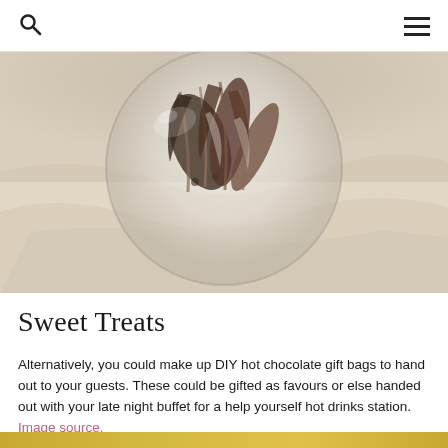Search icon and hamburger menu
[Figure (photo): Overhead view of a glass sphere/globe terrarium containing feathers and dried botanical elements, placed on crumpled white linen fabric]
Sweet Treats
Alternatively, you could make up DIY hot chocolate gift bags to hand out to your guests. These could be gifted as favours or else handed out with your late night buffet for a help yourself hot drinks station. Image source.